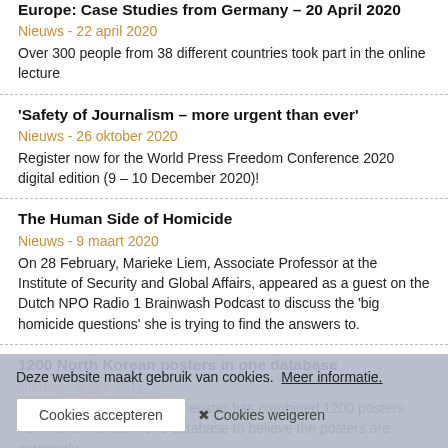Recording of: COVID-19 Live Briefing – Right-Wing Extremism in Europe: Case Studies from Germany – 20 April 2020
Nieuws - 22 april 2020
Over 300 people from 38 different countries took part in the online lecture
'Safety of Journalism – more urgent than ever'
Nieuws - 26 oktober 2020
Register now for the World Press Freedom Conference 2020 digital edition (9 – 10 December 2020)!
The Human Side of Homicide
Nieuws - 9 maart 2020
On 28 February, Marieke Liem, Associate Professor at the Institute of Security and Global Affairs, appeared as a guest on the Dutch NPO Radio 1 Brainwash Podcast to discuss the 'big homicide questions' she is trying to find the answers to.
1200 North Korean posters in one database
Nieuws - 8 juni 2017
Korea specialist Koen De Ceuster has combined 1200 posters from North Korea in one database to believe the posters are extremely
Deze website maakt gebruik van cookies.  Meer informatie.
Cookies accepteren
✖ Cookies weigeren